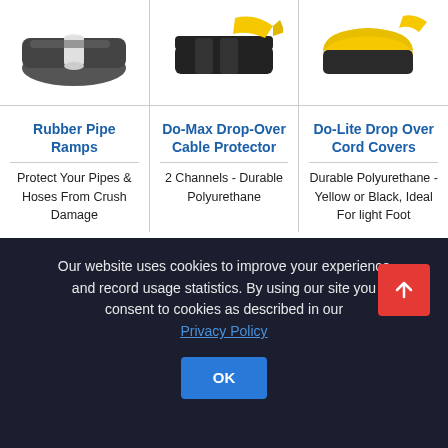[Figure (photo): Three product images in a row: Rubber Pipe Ramp (grey/black), Do-Max Drop-Over Cable Protector (black with yellow), Do-Lite Drop Over Cord Cover (black and yellow)]
Rubber Pipe Ramps
Do-Max Drop-Over Cable Protector
Do-Lite Drop Over Cord Covers
Protect Your Pipes & Hoses From Crush Damage
2 Channels - Durable Polyurethane
Durable Polyurethane - Yellow or Black, Ideal For light Foot
Our website uses cookies to improve your experience and record usage statistics. By using our site you consent to cookies as described in our Privacy Policy